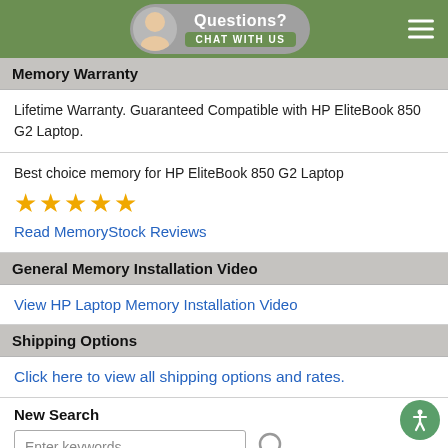Questions? Chat with us
Memory Warranty
Lifetime Warranty. Guaranteed Compatible with HP EliteBook 850 G2 Laptop.
Best choice memory for HP EliteBook 850 G2 Laptop ★★★★★ Read MemoryStock Reviews
General Memory Installation Video
View HP Laptop Memory Installation Video
Shipping Options
Click here to view all shipping options and rates.
New Search
Enter keywords.....